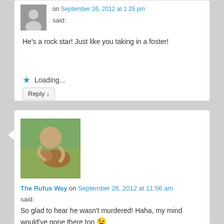on September 26, 2012 at 1:25 pm
said:
He's a rock star! Just like you taking in a foster!
Loading...
Reply ↓
[Figure (photo): Avatar photo of person hugging a dog outdoors]
The Rufus Way on September 26, 2012 at 11:56 am
said:
So glad to hear he wasn't murdered! Haha, my mind would've gone there too 😉